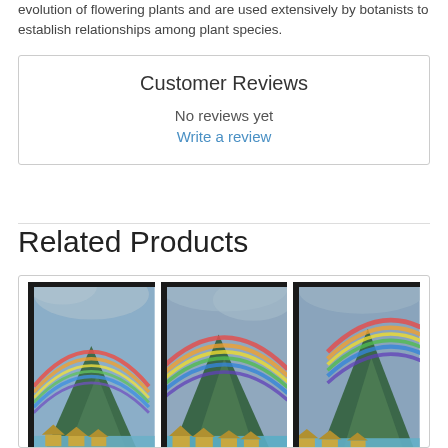evolution of flowering plants and are used extensively by botanists to establish relationships among plant species.
Customer Reviews
No reviews yet
Write a review
Related Products
[Figure (photo): Three canvas prints side by side showing a rainbow over a tropical island with mountain peaks and overwater bungalows (Bora Bora style scene). Each panel shows a slightly different crop of the same scene.]